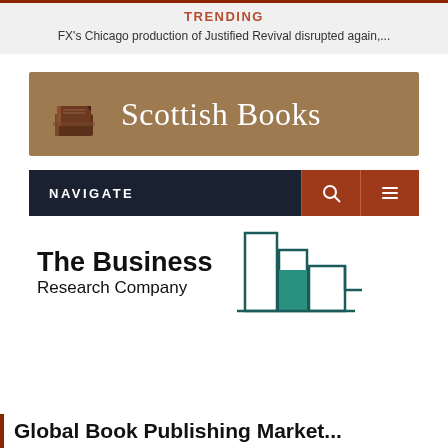TRENDING
FX's Chicago production of Justified Revival disrupted again,...
[Figure (logo): Scottish Books banner with book icon and tan/brown background, white serif text 'Scottish Books']
[Figure (screenshot): Navigation bar with dark navy background, NAVIGATE label, and two rust-colored icon buttons (search and menu)]
[Figure (logo): The Business Research Company logo with bar chart graphic in teal and dark teal]
Global Book Publishing Market...